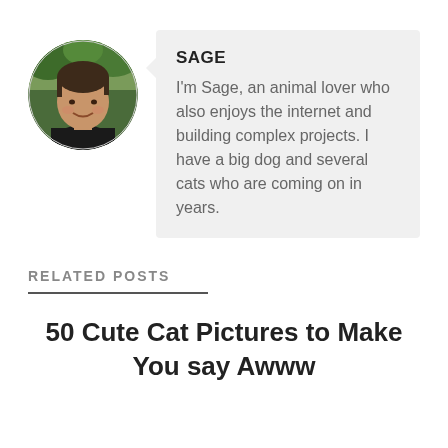[Figure (photo): Circular profile photo of a young man smiling, with trees/foliage in background, dark hair]
SAGE
I'm Sage, an animal lover who also enjoys the internet and building complex projects. I have a big dog and several cats who are coming on in years.
RELATED POSTS
50 Cute Cat Pictures to Make You say Awww